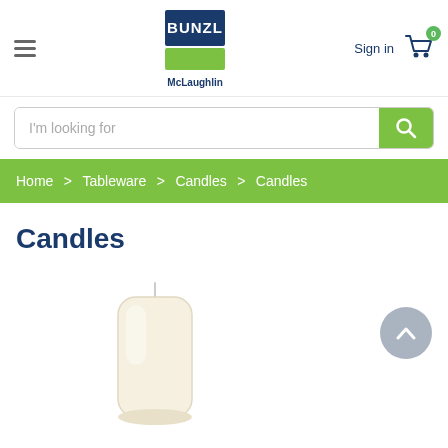[Figure (logo): Bunzl McLaughlin logo with dark blue and green blocks]
Sign in
[Figure (illustration): Shopping cart icon with badge showing 0]
I'm looking for
Home > Tableware > Candles > Candles
Candles
[Figure (photo): Cream/white pillar candle with wick, photographed on white background]